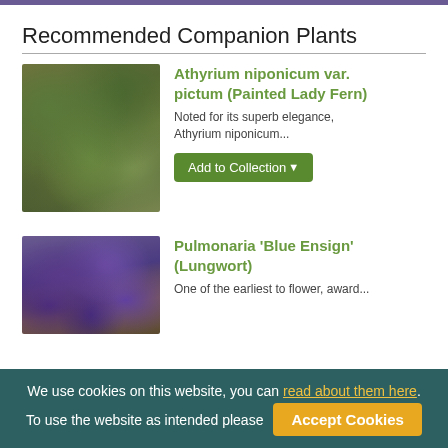Recommended Companion Plants
[Figure (photo): Close-up photo of Athyrium niponicum var. pictum (Painted Lady Fern) foliage showing silvery-green fronds with dark centers]
Athyrium niponicum var. pictum (Painted Lady Fern)
Noted for its superb elegance, Athyrium niponicum...
[Figure (photo): Photo of Pulmonaria 'Blue Ensign' (Lungwort) showing blue-purple flowers]
Pulmonaria 'Blue Ensign' (Lungwort)
One of the earliest to flower, award...
We use cookies on this website, you can read about them here. To use the website as intended please Accept Cookies